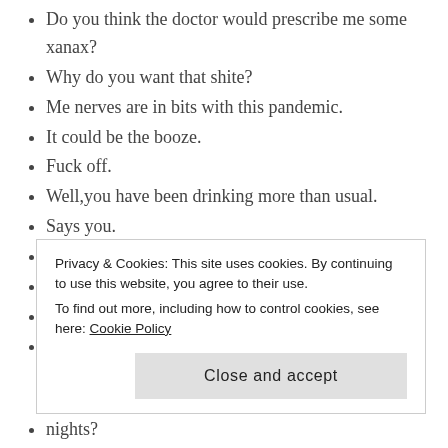Do you think the doctor would prescribe me some xanax?
Why do you want that shite?
Me nerves are in bits with this pandemic.
It could be the booze.
Fuck off.
Well,you have been drinking more than usual.
Says you.
I don't have a drink every night.
You're a saint, anyway,a glass of wine relaxes me.
And you're going to tell your doctor that?
Yeah, he'd probably prefer me to take a pill
Privacy & Cookies: This site uses cookies. By continuing to use this website, you agree to their use.
To find out more, including how to control cookies, see here: Cookie Policy
nights?